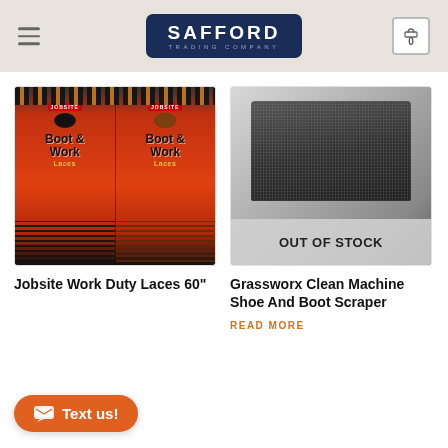Safford Trading Company — Navigation header with logo and cart
[Figure (photo): Jobsite Boot & Work Laces product packaging showing two packages — black and brown laces]
[Figure (photo): Grassworx Clean Machine Shoe And Boot Scraper product photo with OUT OF STOCK overlay]
Jobsite Work Duty Laces 60"
Grassworx Clean Machine Shoe And Boot Scraper
READ MORE